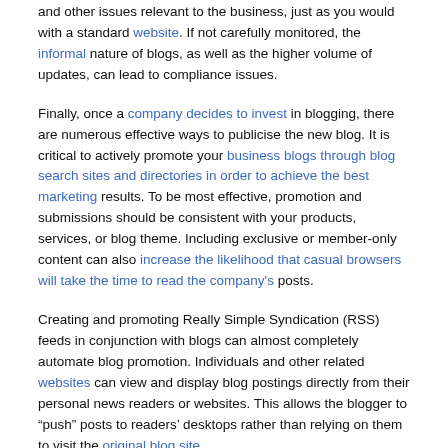and other issues relevant to the business, just as you would with a standard website. If not carefully monitored, the informal nature of blogs, as well as the higher volume of updates, can lead to compliance issues.
Finally, once a company decides to invest in blogging, there are numerous effective ways to publicise the new blog. It is critical to actively promote your business blogs through blog search sites and directories in order to achieve the best marketing results. To be most effective, promotion and submissions should be consistent with your products, services, or blog theme. Including exclusive or member-only content can also increase the likelihood that casual browsers will take the time to read the company's posts.
Creating and promoting Really Simple Syndication (RSS) feeds in conjunction with blogs can almost completely automate blog promotion. Individuals and other related websites can view and display blog postings directly from their personal news readers or websites. This allows the blogger to “push” posts to readers’ desktops rather than relying on them to visit the original blog site.
Because search engine positioning is so important for traffic